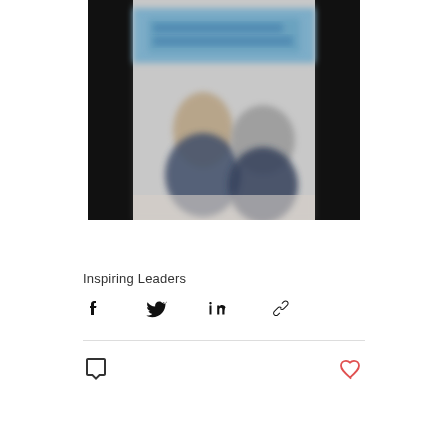[Figure (photo): Blurry photo of people in a room with dark side panels and a blue/white banner or sign partially visible at the top]
Inspiring Leaders
[Figure (infographic): Social share icons: Facebook, Twitter, LinkedIn, and link/chain icon]
[Figure (infographic): Comment icon (speech bubble) on the left, heart/like icon in red outline on the right]